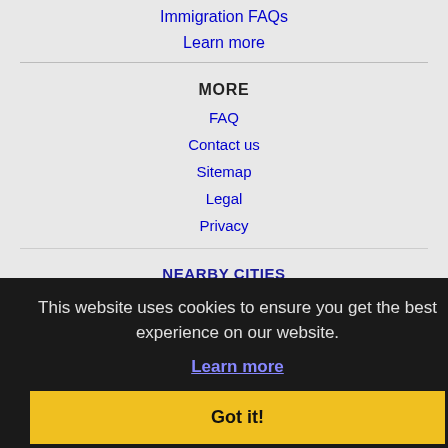Immigration FAQs
Learn more
MORE
FAQ
Contact us
Sitemap
Legal
Privacy
NEARBY CITIES
Arlington Heights, IL Jobs
Addison, IL Jobs
Bensenville, IL Jobs
Bolingbrook, IL Jobs
Buffalo Grove, IL Jobs
This website uses cookies to ensure you get the best experience on our website.
Learn more
Got it!